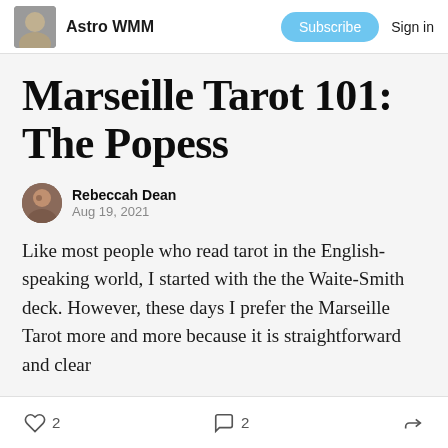Astro WMM  Subscribe  Sign in
Marseille Tarot 101: The Popess
Rebeccah Dean
Aug 19, 2021
Like most people who read tarot in the English-speaking world, I started with the the Waite-Smith deck. However, these days I prefer the Marseille Tarot more and more because it is straightforward and clear
2  2